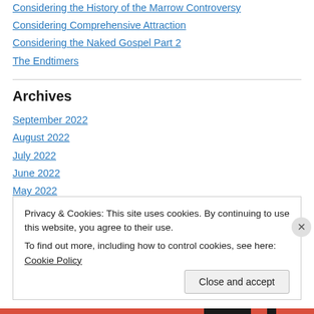Considering the History of the Marrow Controversy
Considering Comprehensive Attraction
Considering the Naked Gospel Part 2
The Endtimers
Archives
September 2022
August 2022
July 2022
June 2022
May 2022
Privacy & Cookies: This site uses cookies. By continuing to use this website, you agree to their use. To find out more, including how to control cookies, see here: Cookie Policy